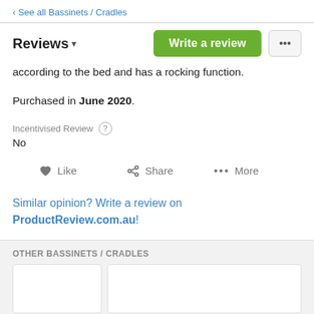‹ See all Bassinets / Cradles
Reviews ▾
according to the bed and has a rocking function.
Purchased in June 2020.
Incentivised Review ? No
♥ Like   < Share   ••• More
Similar opinion? Write a review on ProductReview.com.au!
OTHER BASSINETS / CRADLES